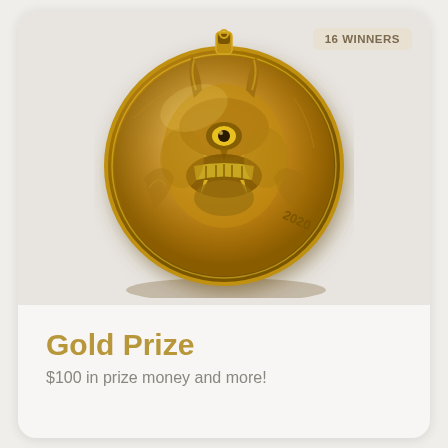[Figure (photo): A gold medal/coin with a demonic creature face, highly detailed 3D relief, labeled 2020, with a hanging loop at the top. Badge overlay reading '16 WINNERS' in top right corner.]
Gold Prize
$100 in prize money and more!